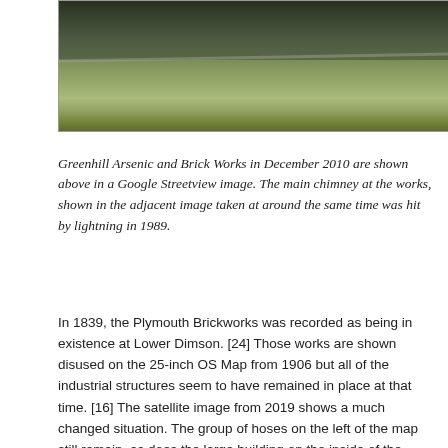[Figure (photo): A Google Streetview image of Greenhill Arsenic and Brick Works in December 2010, showing a grassy hillside landscape with trees in the background.]
Greenhill Arsenic and Brick Works in December 2010 are shown above in a Google Streetview image. The main chimney at the works, shown in the adjacent image taken at around the same time was hit by lightning in 1989.
In 1839, the Plymouth Brickworks was recorded as being in existence at Lower Dimson. [24] Those works are shown disused on the 25-inch OS Map from 1906 but all of the industrial structures seem to have remained in place at that time. [16] The satellite image from 2019 shows a much changed situation. The group of hoses on the left of the map still remain, as does the large building on the inside of the curve of the track. Little else is visible.